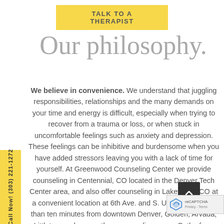TALK TO A THERAPIST
Our philosophy.
We believe in convenience. We understand that juggling responsibilities, relationships and the many demands on your time and energy is difficult, especially when trying to recover from a trauma or loss, or when stuck in uncomfortable feelings such as anxiety and depression. These feelings can be inhibitive and burdensome when you have added stressors leaving you with a lack of time for yourself. At Greenwood Counseling Center we provide counseling in Centennial, CO located in the Denver Tech Center area, and also offer counseling in Lakewood, CO at a convenient location at 6th Ave. and S. Union Blvd., less than ten minutes from downtown Denver, Golden, Arvada, Littleton, and many other surrounding areas. Both of our locations are very easy to access from business
Call Now! (303) 221-1272